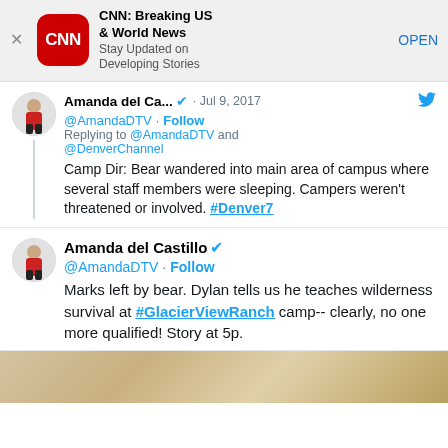[Figure (screenshot): CNN app advertisement banner with CNN logo (red rounded square), app name 'CNN: Breaking US & World News', subtitle 'Stay Updated on Developing Stories', and OPEN button]
Amanda del Ca... · Jul 9, 2017
@AmandaDTV · Follow
Replying to @AmandaDTV and @DenverChannel
Camp Dir: Bear wandered into main area of campus where several staff members were sleeping. Campers weren't threatened or involved. #Denver7
Amanda del Castillo
@AmandaDTV · Follow
Marks left by bear. Dylan tells us he teaches wilderness survival at #GlacierViewRanch camp-- clearly, no one more qualified! Story at 5p.
[Figure (photo): Partial photo of a person with blonde hair, cropped at the bottom of the screen]